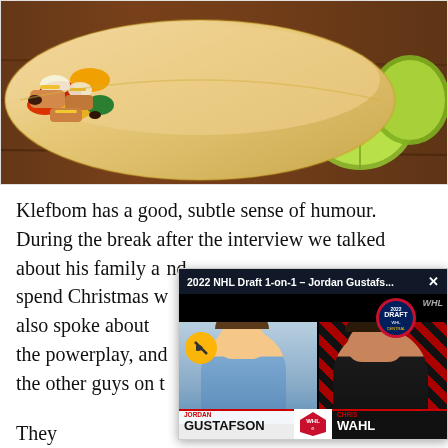[Figure (photo): Close-up photo of a burrito/wrap filled with chicken, peppers, onions, cheese and vegetables, with lime wedges in background on wooden surface]
Klefbom has a good, subtle sense of humour. During the break after the interview we talked about his family and where he plans to spend Christmas w... also spoke about w... the powerplay, and ... the other guys on t...
[Figure (screenshot): Video popup overlay showing '2022 NHL Draft 1-on-1 – Jordan Gustafs...' with two interview participants: Jordan Gustafson on left and Chris Wahl on right, WHL Draft logo visible]
They...